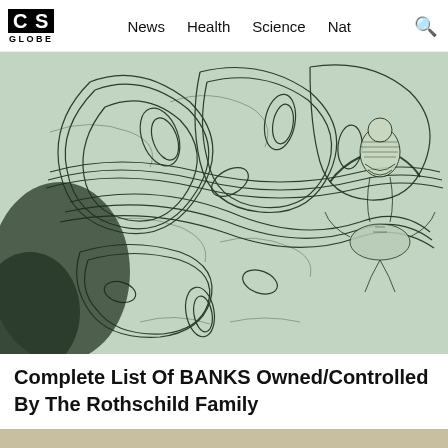CS GLOBE   News   Health   Science   Nat
[Figure (illustration): Close-up of green engraved currency / banknote detail showing swirling ornate patterns on the left and a classical figure (eagle or mythological creature) engraving on the right, in shades of green and white — resembling US dollar bill security printing artwork.]
Complete List Of BANKS Owned/Controlled By The Rothschild Family